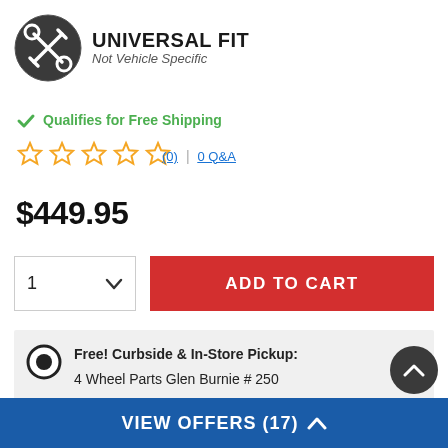[Figure (logo): Universal Fit icon — dark circle with wrench and screwdriver cross, text UNIVERSAL FIT bold dark, italic Not Vehicle Specific below]
✓ Qualifies for Free Shipping
[Figure (other): 5 empty star rating icons in gold/yellow outline]
(0) | 0 Q&A
$449.95
[Figure (other): Quantity selector dropdown showing '1' with chevron, and red ADD TO CART button]
Free! Curbside & In-Store Pickup:
4 Wheel Parts Glen Burnie # 250
Ships Directly From Manufacturer
VIEW OFFERS (17) ^